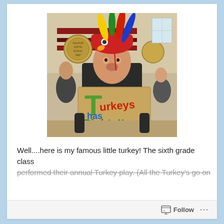[Figure (photo): A young boy wearing a colorful turkey hat with feathers (red, yellow, green, blue) holding a handmade cardboard sign that reads 'Turkeys has Rights!!' in colorful hand-drawn letters. He is standing in what appears to be a school gymnasium. Other students are visible in the background.]
Well....here is my famous little turkey!  The sixth grade class performed their annual Turkey play. (All the Turkey's go on